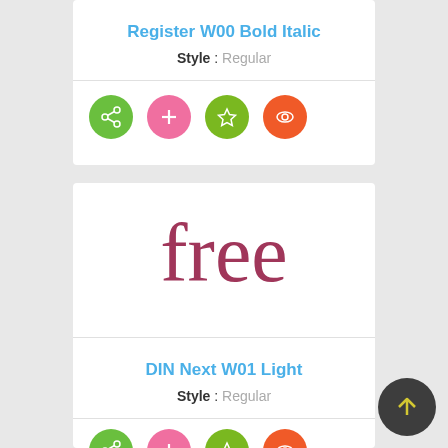Register W00 Bold Italic
Style : Regular
[Figure (infographic): Four circular icon buttons: green share icon, pink plus icon, green star icon, orange eye icon]
[Figure (other): Large preview text 'free' in dark pink/maroon serif font]
DIN Next W01 Light
Style : Regular
[Figure (infographic): Four circular icon buttons (partially visible): green share icon, pink plus icon, green star icon, orange eye icon]
[Figure (other): Dark circular button with yellow upward arrow]